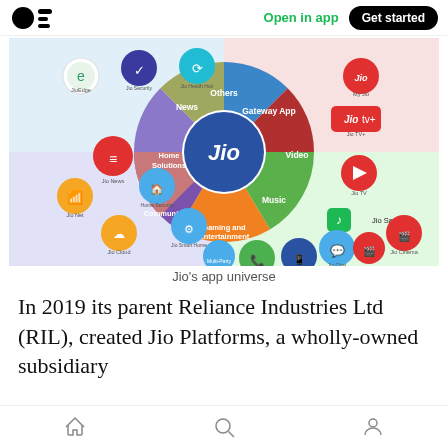Open in app  Get started
[Figure (infographic): Jio's app universe — a donut/wheel chart showing Jio services grouped by category: Gateway App, Video, Music, Gaming and Entertainment, Communication, Home Solutions, News, Others, with surrounding app icons like My Jio, Jio TV+, Jio TV, Jio Saavn, Jio Cinema, JioMeet, Jio Chat, Jio Switch, Jio Call, Multi-Party Video Conferencing, Jio Smart Home, Home Security, Jio Cloud, Jio Net, Jio News, Jio Health Hub, Jio Security, JioEdge.]
Jio's app universe
In 2019 its parent Reliance Industries Ltd (RIL), created Jio Platforms, a wholly-owned subsidiary
Home  Search  Profile